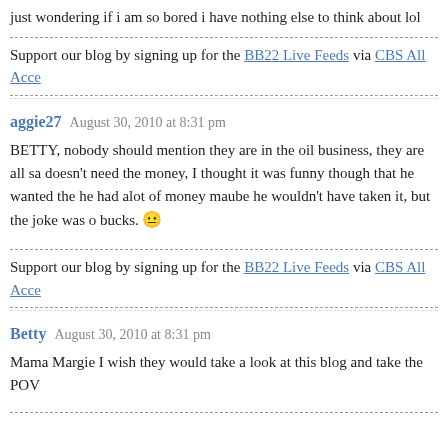just wondering if i am so bored i have nothing else to think about lol
Support our blog by signing up for the BB22 Live Feeds via CBS All Acc…
aggie27  August 30, 2010 at 8:31 pm
BETTY, nobody should mention they are in the oil business, they are all sa… doesn't need the money, I thought it was funny though that he wanted the… he had alot of money maube he wouldn't have taken it, but the joke was o… bucks. 😐
Support our blog by signing up for the BB22 Live Feeds via CBS All Acc…
Betty  August 30, 2010 at 8:31 pm
Mama Margie I wish they would take a look at this blog and take the POV…